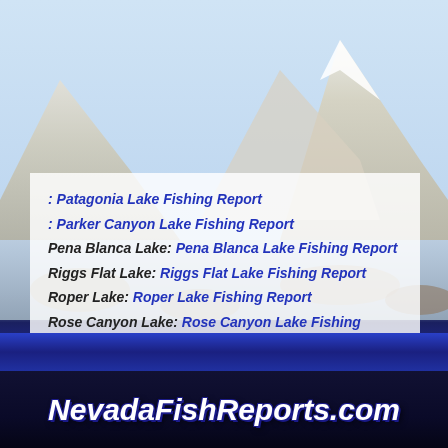[Figure (photo): Mountain lake landscape background with rocky foreground, snow-capped peaks, blue sky reflected in water]
: Patagonia Lake Fishing Report
: Parker Canyon Lake Fishing Report
Pena Blanca Lake: Pena Blanca Lake Fishing Report
Riggs Flat Lake: Riggs Flat Lake Fishing Report
Roper Lake: Roper Lake Fishing Report
Rose Canyon Lake: Rose Canyon Lake Fishing Report
NevadaFishReports.com